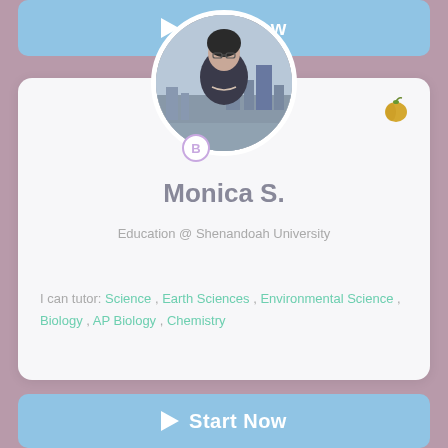Start Now
[Figure (photo): Circular profile photo of Monica S., a woman with glasses, standing in front of a city skyline near water. Badge icon with letter B below the photo.]
Monica S.
Education @ Shenandoah University
I can tutor: Science , Earth Sciences , Environmental Science , Biology , AP Biology , Chemistry
Start Now